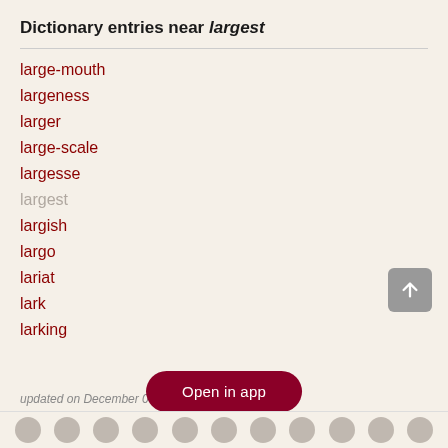Dictionary entries near largest
large-mouth
largeness
larger
large-scale
largesse
largest
largish
largo
lariat
lark
larking
updated on December 03, 2...